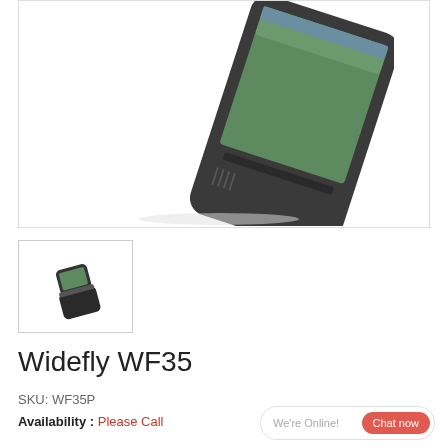[Figure (photo): Close-up photo of a Widefly WF35 handheld device (a small PDA/phone), shown at an angle, with a green Windows CE-like screen visible, dark gray/black casing with speaker grille, on a white background.]
[Figure (photo): Small thumbnail image of the Widefly WF35 device shown as a compact flip/clamshell form factor, dark body with small green screen, on white background.]
Widefly WF35
SKU: WF35P
Availability : Please Call